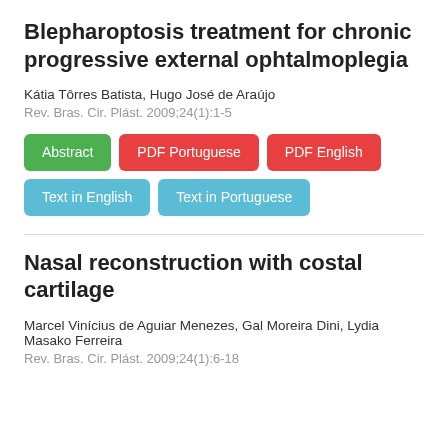Blepharoptosis treatment for chronic progressive external ophtalmoplegia
Kátia Tôrres Batista, Hugo José de Araújo
Rev. Bras. Cir. Plást. 2009;24(1):1-5
[Figure (other): Row of colored buttons: Abstract (green), PDF Portuguese (red), PDF English (red), Text in English (blue), Text in Portuguese (blue)]
Nasal reconstruction with costal cartilage
Marcel Vinícius de Aguiar Menezes, Gal Moreira Dini, Lydia Masako Ferreira
Rev. Bras. Cir. Plást. 2009;24(1):6-18